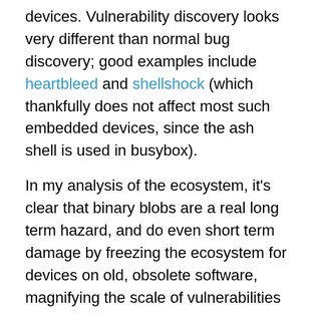devices. Vulnerability discovery looks very different than normal bug discovery; good examples include heartbleed and shellshock (which thankfully does not affect most such embedded devices, since the ash shell is used in busybox).
In my analysis of the ecosystem, it's clear that binary blobs are a real long term hazard, and do even short term damage by freezing the ecosystem for devices on old, obsolete software, magnifying the scale of vulnerabilities even on new equipment. But in the long term maintenance and security of devices (examples include your modems and home routers) is nigh impossible. And all devices need ongoing software updates for the life of the devices; the routing devices most of all (since if the network ceases to work, updates become impossible).